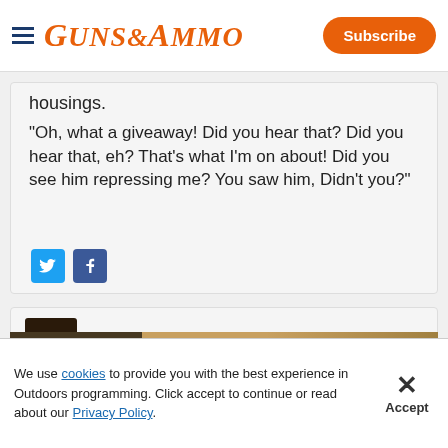GUNS&AMMO | Subscribe
housings.
"Oh, what a giveaway! Did you hear that? Did you hear that, eh? That's what I'm on about! Did you see him repressing me? You saw him, Didn't you?"
[Figure (screenshot): Social share icons: Twitter (blue bird) and Facebook (blue f)]
Zee  Senior Member  Posts: 27,689
[Figure (screenshot): Advertisement overlay: SPEER PRESS ON advertisement with close button]
We use cookies to provide you with the best experience in Outdoors programming. Click accept to continue or read about our Privacy Policy.